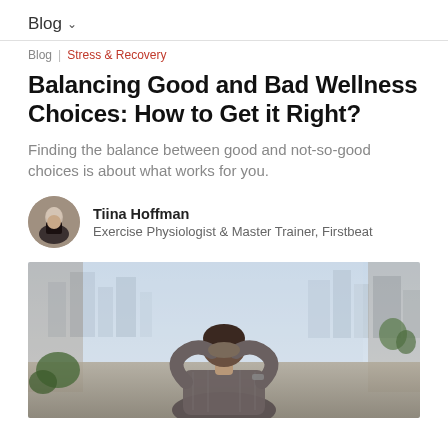Blog
Blog | Stress & Recovery
Balancing Good and Bad Wellness Choices: How to Get it Right?
Finding the balance between good and not-so-good choices is about what works for you.
Tiina Hoffman
Exercise Physiologist & Master Trainer, Firstbeat
[Figure (photo): Person sitting from behind with hands behind their head, looking out large windows at a city skyline. Indoor plants visible on left and right sides.]